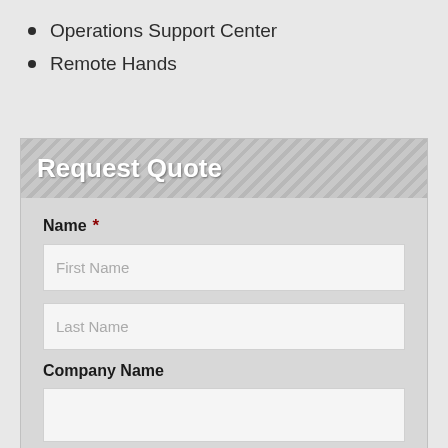Operations Support Center
Remote Hands
Request Quote
Name *
First Name
Last Name
Company Name